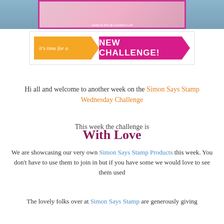[Figure (photo): Partial top image showing a crafting card with pink whale/sea creature design on pink background, with wooden surface underneath. Watermark reads 'made by Kim @ Lorraine's Loft']
[Figure (illustration): Banner graphic: orange arrow shape saying 'it's time for a' in italic white text, followed by large pink banner with white bold text 'NEW CHALLENGE!']
Hi all and welcome to another week on the Simon Says Stamp Wednesday Challenge
This week the challenge is
With Love
We are showcasing our very own Simon Says Stamp Products this week. You don't have to use them to join in but if you have some we would love to see them used
The lovely folks over at Simon Says Stamp are generously giving